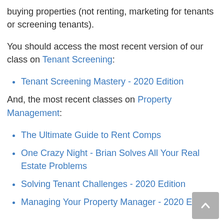buying properties (not renting, marketing for tenants or screening tenants).
You should access the most recent version of our class on Tenant Screening:
Tenant Screening Mastery - 2020 Edition
And, the most recent classes on Property Management:
The Ultimate Guide to Rent Comps
One Crazy Night - Brian Solves All Your Real Estate Problems
Solving Tenant Challenges - 2020 Edition
Managing Your Property Manager - 2020 Edition